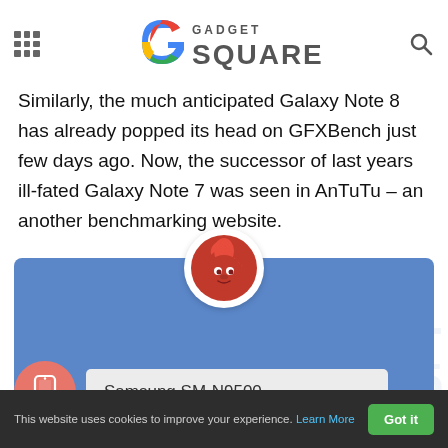Gadget Square
Making a visit on yet another renowned benchmarking website by a device before its announcement is a followed tradition. Similarly, the much anticipated Galaxy Note 8 has already popped its head on GFXBench just few days ago. Now, the successor of last years ill-fated Galaxy Note 7 was seen in AnTuTu – an another benchmarking website.
[Figure (screenshot): AnTuTu Benchmark app card with logo, title 'AnTuTu Benchmark', subtitle 'Samsung SM-N9500 New model exposure', and a Samsung SM-N9500 device entry below]
This website uses cookies to improve your experience. Learn More Got it